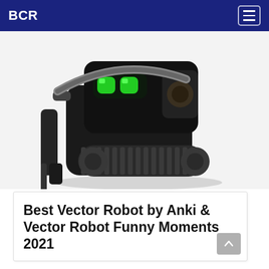BCR
[Figure (photo): Anki Vector robot — a small black toy robot with green LED eyes, tank treads, and a forklift-style front arm, photographed on a white background]
Best Vector Robot by Anki & Vector Robot Funny Moments 2021